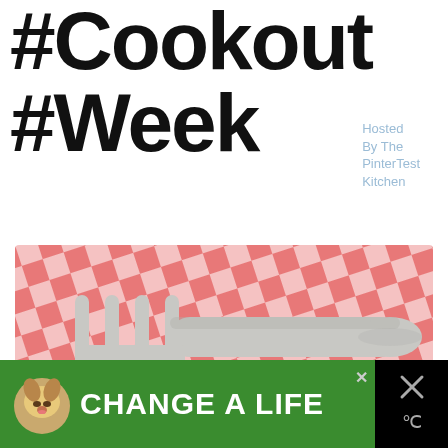#Cookout Week
Hosted By The PinterTest Kitchen
[Figure (illustration): A silver/gray fork lying on a red and white checkered picnic tablecloth background. The fork has three tines and a rounded handle. The background is a classic gingham/checkered pattern in red/coral and white.]
[Figure (advertisement): Ad banner with green background showing a dog photo on the left and bold white text reading CHANGE A LIFE. Black section on right with X close button and other icons.]